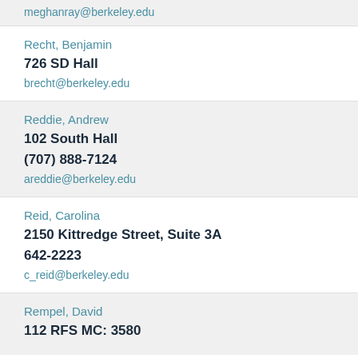meghanray@berkeley.edu
Recht, Benjamin
726 SD Hall
brecht@berkeley.edu
Reddie, Andrew
102 South Hall
(707) 888-7124
areddie@berkeley.edu
Reid, Carolina
2150 Kittredge Street, Suite 3A
642-2223
c_reid@berkeley.edu
Rempel, David
112 RFS MC: 3580